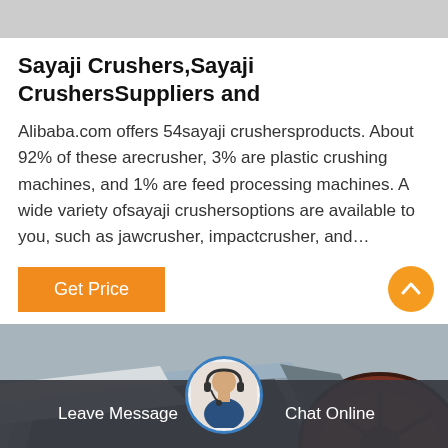Sayaji Crushers,Sayaji CrushersSuppliers and
Alibaba.com offers 54sayaji crushersproducts. About 92% of these arecrusher, 3% are plastic crushing machines, and 1% are feed processing machines. A wide variety ofsayaji crushersoptions are available to you, such as jawcrusher, impactcrusher, and…
[Figure (photo): Photo of a Sayaji crusher machine, showing industrial jaw crusher equipment with metal components.]
Leave Message   Chat Online